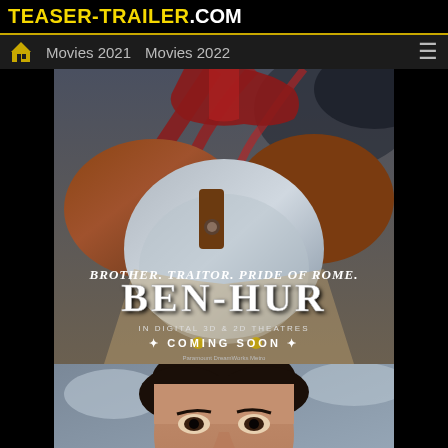TEASER-TRAILER.COM
Movies 2021    Movies 2022
[Figure (photo): Ben-Hur movie promotional poster showing armored Roman soldier with text: BROTHER. TRAITOR. PRIDE OF ROME. BEN-HUR. IN DIGITAL 3D & 2D THEATRES COMING SOON]
[Figure (photo): Close-up photo of a dark-haired male actor looking forward, partial face visible from nose up, with cloudy sky background]